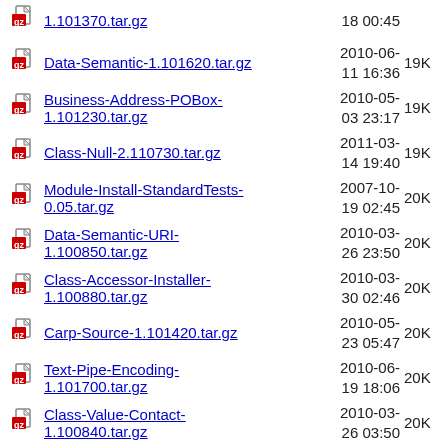1.101370.tar.gz  18 00:45
Data-Semantic-1.101620.tar.gz  2010-06-11 16:36  19K
Business-Address-POBox-1.101230.tar.gz  2010-05-03 23:17  19K
Class-Null-2.110730.tar.gz  2011-03-14 19:40  19K
Module-Install-StandardTests-0.05.tar.gz  2007-10-19 02:45  20K
Data-Semantic-URI-1.100850.tar.gz  2010-03-26 23:50  20K
Class-Accessor-Installer-1.100880.tar.gz  2010-03-30 02:46  20K
Carp-Source-1.101420.tar.gz  2010-05-23 05:47  20K
Text-Pipe-Encoding-1.101700.tar.gz  2010-06-19 18:06  20K
Class-Value-Contact-1.100840.tar.gz  2010-03-26 03:50  20K
Property-Lookup-1.101400.tar.gz  2010-05-20 21:32  20K
Dist-Zilla-PluginBundle-MARCEL-1.111750.tar.gz  2011-06-25 02:42  20K